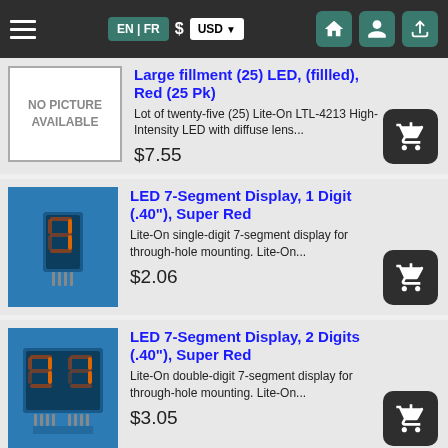EN | FR  $  USD  [home] [account] [upload]
[Figure (screenshot): No Picture Available placeholder box for LED product]
Large fillment (25) LED, (fillled), Red (25 Pk)
Lot of twenty-five (25) Lite-On LTL-4213 High-Intensity LED with diffuse lens...
$7.55
[Figure (photo): Photo of LED 7-Segment Display 1 Digit on blue background]
LED 7-Segment Display, 1 Digit (.40"), Super Red
Lite-On single-digit 7-segment display for through-hole mounting. Lite-On...
$2.06
[Figure (photo): Photo of LED 7-Segment Display 2 Digits on blue background]
LED 7-Segment Display, 2 Digits (.40"), Super Red
Lite-On double-digit 7-segment display for through-hole mounting. Lite-On...
$3.05
[Figure (photo): Partial photo of LED 7-Segment Display 4 Digits on blue background]
LED 7-Segment Display, 4 Digits